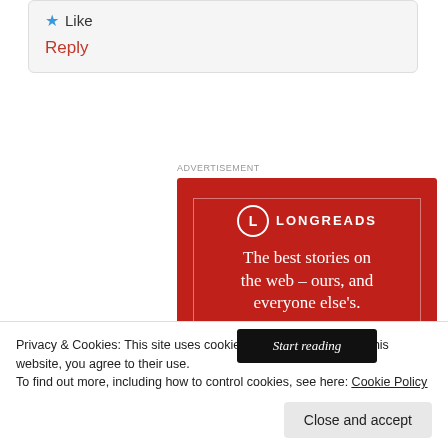★ Like
Reply
Advertisement
[Figure (infographic): Longreads advertisement banner on red background reading 'The best stories on the web – ours, and everyone else's.' with a 'Start reading' button]
Privacy & Cookies: This site uses cookies. By continuing to use this website, you agree to their use.
To find out more, including how to control cookies, see here: Cookie Policy
Close and accept